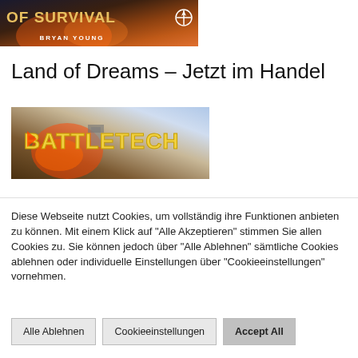[Figure (illustration): Book or game cover image showing 'OF SURVIVAL' text at top in gold, 'BRYAN YOUNG' author name, with fire and dramatic background imagery, and a compass/star icon]
Land of Dreams – Jetzt im Handel
[Figure (illustration): BattleTech game banner showing BATTLETECH logo in large yellow/gold letters with a mech and explosion imagery in background]
Diese Webseite nutzt Cookies, um vollständig ihre Funktionen anbieten zu können. Mit einem Klick auf "Alle Akzeptieren" stimmen Sie allen Cookies zu. Sie können jedoch über "Alle Ablehnen" sämtliche Cookies ablehnen oder individuelle Einstellungen über "Cookieeinstellungen" vornehmen.
Alle Ablehnen
Cookieeinstellungen
Accept All